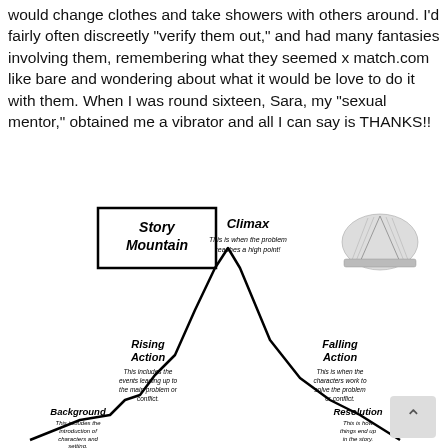would change clothes and take showers with others around. I'd fairly often discreetly "verify them out," and had many fantasies involving them, remembering what they seemed x match.com like bare and wondering about what it would be love to do it with them. When I was round sixteen, Sara, my "sexual mentor," obtained me a vibrator and all I can say is THANKS!!
[Figure (infographic): Story Mountain diagram showing narrative structure with a mountain-shaped line graph. Labels include: Story Mountain (title in box), Background, Rising Action, Climax, Falling Action, Resolution. Each section has a descriptive sentence in italic text. A book illustration appears top right.]